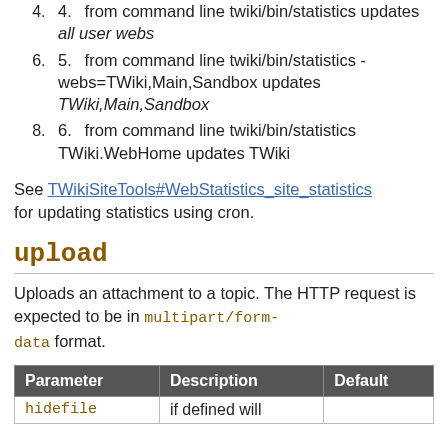4. from command line twiki/bin/statistics updates all user webs
5. from command line twiki/bin/statistics -webs=TWiki,Main,Sandbox updates TWiki,Main,Sandbox
6. from command line twiki/bin/statistics TWiki.WebHome updates TWiki
See TWikiSiteTools#WebStatistics_site_statistics for updating statistics using cron.
upload
Uploads an attachment to a topic. The HTTP request is expected to be in multipart/form-data format.
| Parameter | Description | Default |
| --- | --- | --- |
| hidefile | if defined will |  |